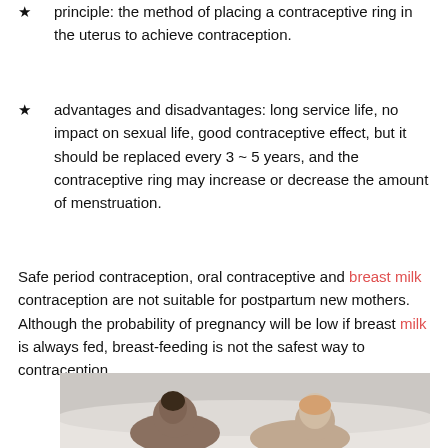★ principle: the method of placing a contraceptive ring in the uterus to achieve contraception.
★ advantages and disadvantages: long service life, no impact on sexual life, good contraceptive effect, but it should be replaced every 3 ~ 5 years, and the contraceptive ring may increase or decrease the amount of menstruation.
Safe period contraception, oral contraceptive and breast milk contraception are not suitable for postpartum new mothers. Although the probability of pregnancy will be low if breast milk is always fed, breast-feeding is not the safest way to contraception.
[Figure (photo): Photo of a couple (man and woman) in bed, appearing to be resting or in an intimate setting, partially visible at bottom of page]